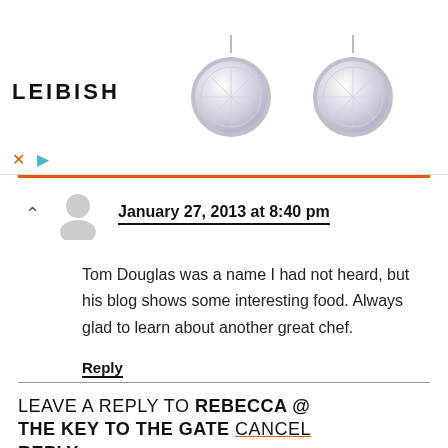[Figure (photo): Advertisement banner for Leibish jewelry featuring two round diamond stud earrings with bezel settings on white background. Brand name LEIBISH shown on left. Ad controls (X and play button) shown at bottom left.]
January 27, 2013 at 8:40 pm
Tom Douglas was a name I had not heard, but his blog shows some interesting food. Always glad to learn about another great chef.
Reply
LEAVE A REPLY TO REBECCA @ THE KEY TO THE GATE CANCEL REPLY